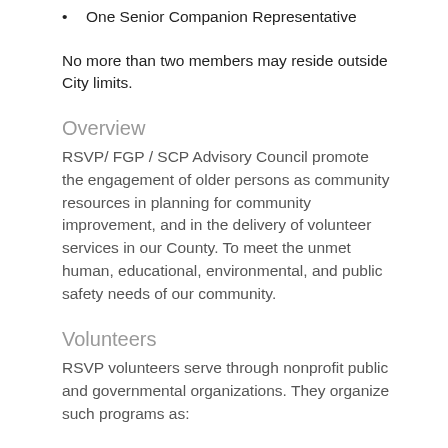One Senior Companion Representative
No more than two members may reside outside City limits.
Overview
RSVP/ FGP / SCP Advisory Council promote the engagement of older persons as community resources in planning for community improvement, and in the delivery of volunteer services in our County. To meet the unmet human, educational, environmental, and public safety needs of our community.
Volunteers
RSVP volunteers serve through nonprofit public and governmental organizations. They organize such programs as: